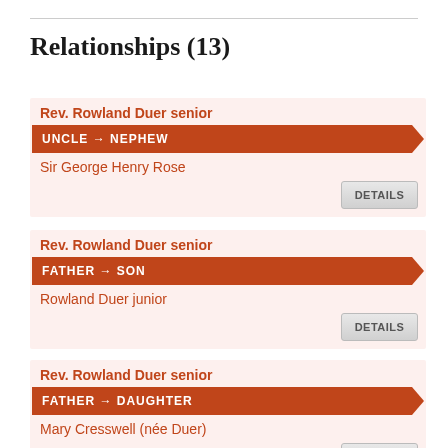Relationships (13)
Rev. Rowland Duer senior | UNCLE → NEPHEW | Sir George Henry Rose | DETAILS
Rev. Rowland Duer senior | FATHER → SON | Rowland Duer junior | DETAILS
Rev. Rowland Duer senior | FATHER → DAUGHTER | Mary Cresswell (née Duer) | DETAILS
Rev. Rowland Duer senior